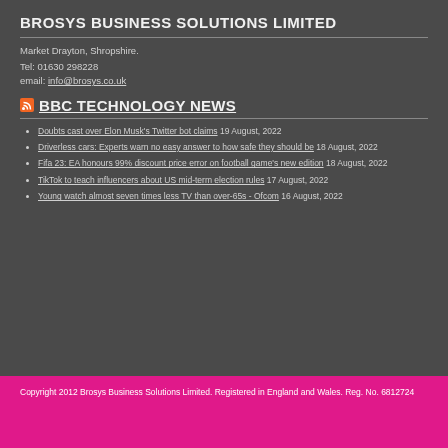BROSYS BUSINESS SOLUTIONS LIMITED
Market Drayton, Shropshire.
Tel: 01630 298228
email: info@brosys.co.uk
BBC TECHNOLOGY NEWS
Doubts cast over Elon Musk's Twitter bot claims 19 August, 2022
Driverless cars: Experts warn no easy answer to how safe they should be 18 August, 2022
Fifa 23: EA honours 99% discount price error on football game's new edition 18 August, 2022
TikTok to teach influencers about US mid-term election rules 17 August, 2022
Young watch almost seven times less TV than over-65s - Ofcom 16 August, 2022
Copyright 2012 Brosys Business Solutions Limited. Registered in England and Wales. Reg. No. 6812724